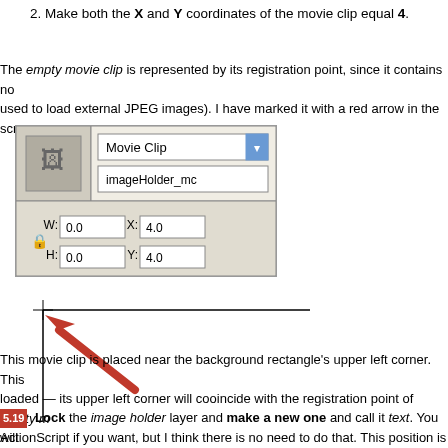2. Make both the X and Y coordinates of the movie clip equal 4.
The empty movie clip is represented by its registration point, since it contains no used to load external JPEG images). I have marked it with a red arrow in the scr
[Figure (screenshot): Flash properties panel showing a Movie Clip named imageHolder_mc with W:0.0, H:0.0, X:4.0, Y:4.0]
[Figure (screenshot): Stage view showing upper-left corner of a rectangle with a red arrow pointing to the registration point crosshair]
This movie clip is placed near the background rectangle's upper left corner. This loaded — its upper left corner will cooincide with the registration point of empty m ActionScript if you want, but I think there is no need to do that. This position is ju
5.19 Lock the image holder layer and make a new one and call it text. You will just like you did for the thumbnail holder.